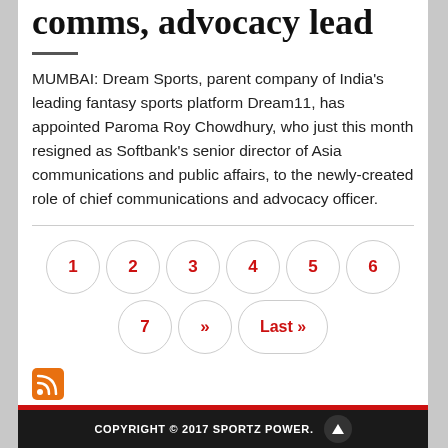comms, advocacy lead
MUMBAI: Dream Sports, parent company of India's leading fantasy sports platform Dream11, has appointed Paroma Roy Chowdhury, who just this month resigned as Softbank's senior director of Asia communications and public affairs, to the newly-created role of chief communications and advocacy officer.
COPYRIGHT © 2017 SPORTZ POWER.